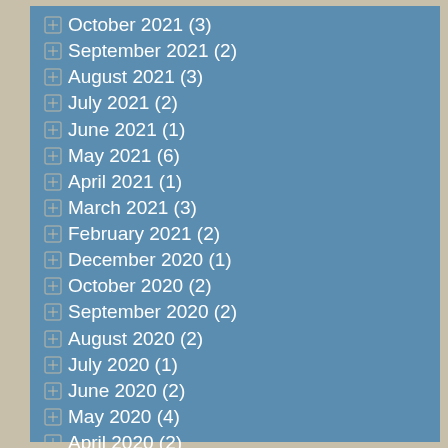October 2021 (3)
September 2021 (2)
August 2021 (3)
July 2021 (2)
June 2021 (1)
May 2021 (6)
April 2021 (1)
March 2021 (3)
February 2021 (2)
December 2020 (1)
October 2020 (2)
September 2020 (2)
August 2020 (2)
July 2020 (1)
June 2020 (2)
May 2020 (4)
April 2020 (2)
March 2020 (1)
February 2020 (1)
January 2020 (1)
December 2019 (5)